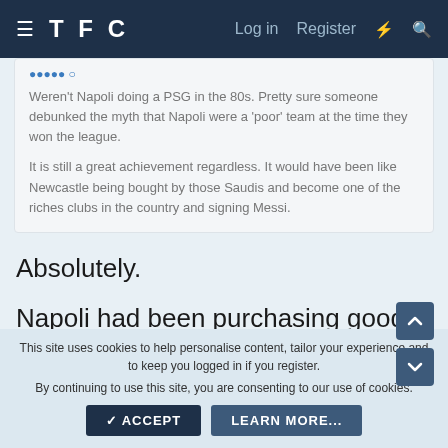TFC  Log in  Register
Weren't Napoli doing a PSG in the 80s. Pretty sure someone debunked the myth that Napoli were a 'poor' team at the time they won the league.

It is still a great achievement regardless. It would have been like Newcastle being bought by those Saudis and become one of the riches clubs in the country and signing Messi.
Absolutely.
Napoli had been purchasing good talent for a few years before Maradona.
This site uses cookies to help personalise content, tailor your experience and to keep you logged in if you register.
By continuing to use this site, you are consenting to our use of cookies.